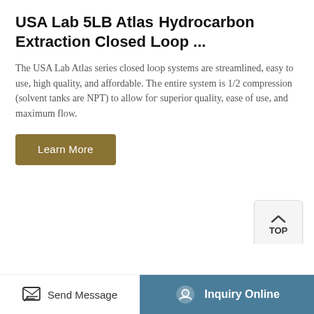USA Lab 5LB Atlas Hydrocarbon Extraction Closed Loop ...
The USA Lab Atlas series closed loop systems are streamlined, easy to use, high quality, and affordable. The entire system is 1/2 compression (solvent tanks are NPT) to allow for superior quality, ease of use, and maximum flow.
[Figure (screenshot): A 'Learn More' button (dark gold/tan color) and a 'TOP' navigation button (light gray with upward chevron icon)]
[Figure (photo): Product photo of a hydrocarbon extraction closed loop system component — a curved stainless steel tube/hose forming an arc, with a blue-handled valve fitting at the lower right end]
Send Message    Inquiry Online